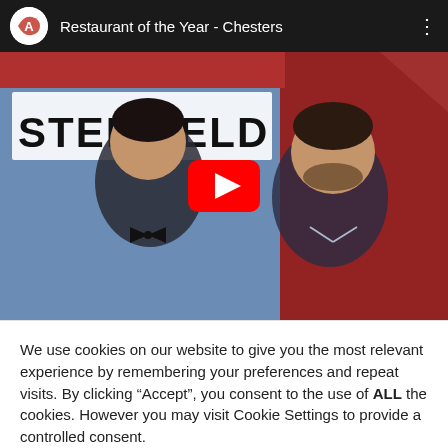[Figure (screenshot): YouTube video thumbnail bar showing channel logo, video title 'Restaurant of the Year - Chesters', and three-dot menu icon on dark background]
[Figure (screenshot): YouTube video thumbnail showing two men in formal attire standing in front of a 'Chesterfield' branded banner/display. A YouTube play button (red rounded rectangle with white triangle) overlay is centered on the image.]
We use cookies on our website to give you the most relevant experience by remembering your preferences and repeat visits. By clicking “Accept”, you consent to the use of ALL the cookies. However you may visit Cookie Settings to provide a controlled consent.
Cookie settings
ACCEPT